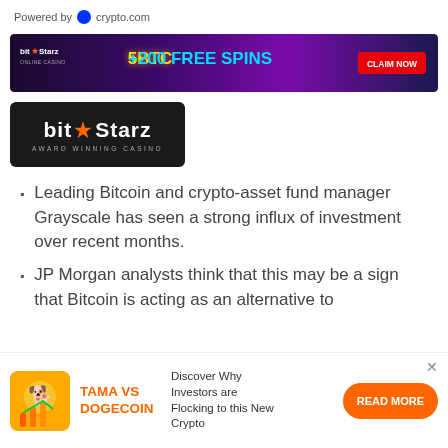Powered by crypto.com
[Figure (infographic): BitStarz banner ad: dark purple background with '5BTC +200 FREE SPINS' in yellow/cyan text, animated character, and red 'CLAIM NOW' button on right]
[Figure (logo): BitStarz Award Winning Casino logo on dark background]
Leading Bitcoin and crypto-asset fund manager Grayscale has seen a strong influx of investment over recent months.
JP Morgan analysts think that this may be a sign that Bitcoin is acting as an alternative to
[Figure (infographic): Bottom banner ad: TAMA VS DOGECOIN - Discover Why Investors are Flocking to this New Crypto, with orange dog coin icon and READ MORE button]